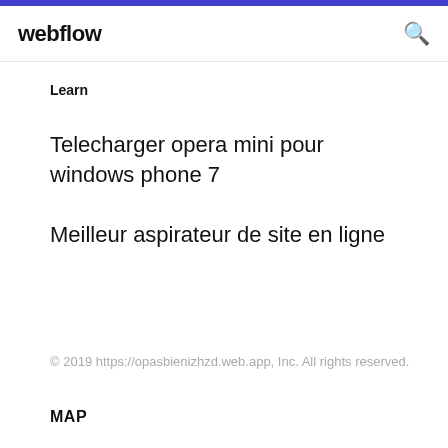webflow
Learn
Telecharger opera mini pour windows phone 7
Meilleur aspirateur de site en ligne
© 2019 https://opasbienizhzd.web.app, Inc. All rights reserved.
MAP